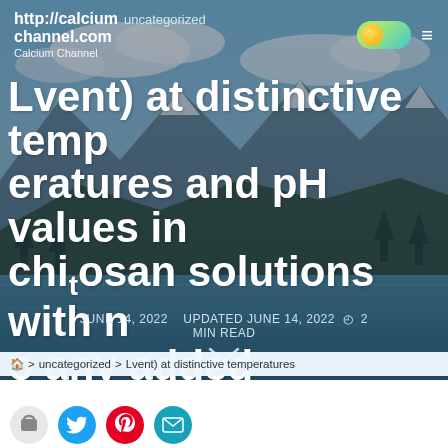http://calcium channel.com · Calcium Channel · uncategorized
Lvent) at distinctive temperatures and pH values in chitosan solutions with no any added crosslinker
JUNE 14, 2022   UPDATED JUNE 14, 2022  ⊕  2 MIN READ
🏠 > uncategorized > Lvent) at distinctive temperatures